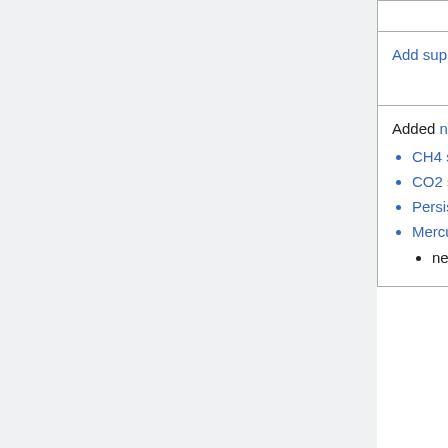| Description | Contact |
| --- | --- |
| (PRO) | (PRO) |
| Add support for continuous integration with TravisCI – automatically test each commit as soon as it is pushed to Github | Jiawei Zhuang (Harvard) Bob Yantosca (GCST) |
| Added netCDF diagnostics in the following areas:
• CH4 simulation
• CO2 simulation
• Persistent Organic Pollutants (POPS) simulation
• Mercury simulation
  • netCDF diagnostics for mercury are partially implemented in 12.1.0; to be completed in 12.2.0 | Bob Yantosca (GCST) |